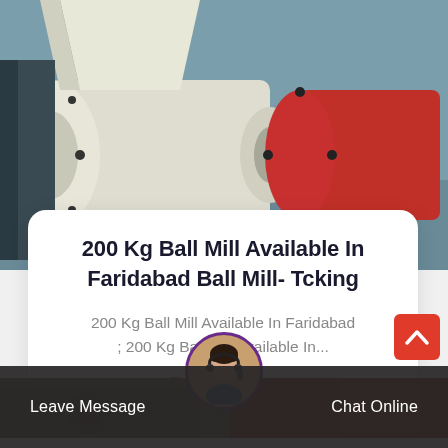[Figure (photo): Industrial ball mill machinery with large cylindrical drum, red and white components, in a factory setting]
200 Kg Ball Mill Available In Faridabad Ball Mill- Tcking
200 Kg Ball Mill Available In Faridabad ; 200 Kg Ball Mill Available In...
Read More >
Leave Message    Chat Online